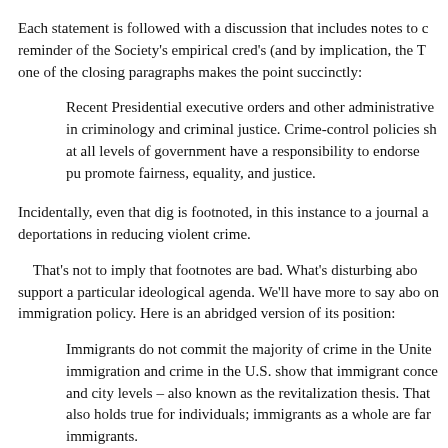Each statement is followed with a discussion that includes notes to c reminder of the Society's empirical cred's (and by implication, the T one of the closing paragraphs makes the point succinctly:
Recent Presidential executive orders and other administrative in criminology and criminal justice. Crime-control policies sh at all levels of government have a responsibility to endorse pu promote fairness, equality, and justice.
Incidentally, even that dig is footnoted, in this instance to a journal a deportations in reducing violent crime.
That's not to imply that footnotes are bad. What's disturbing abo support a particular ideological agenda. We'll have more to say abo on immigration policy. Here is an abridged version of its position:
Immigrants do not commit the majority of crime in the Unite immigration and crime in the U.S. show that immigrant conce and city levels – also known as the revitalization thesis. That also holds true for individuals; immigrants as a whole are far immigrants.